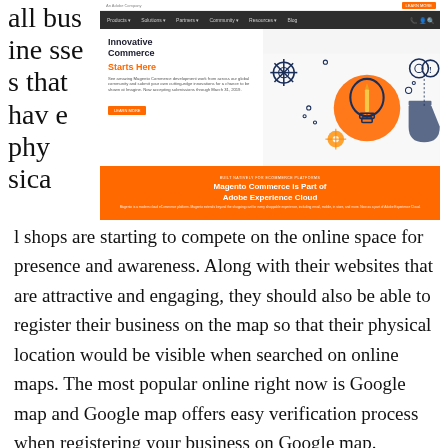all businesses that have physical shops are starting to compete on the online space for presence and awareness. Along with their websites that are attractive and engaging, they should also be able to register their business on the map so that their physical location would be visible when searched on online maps. The most popular online right now is Google map and Google map offers easy verification process when registering your business on Google map.
[Figure (screenshot): Screenshot of Magento Commerce website showing navigation bar, 'Innovative Commerce Starts Here' hero section with orange headline, descriptive text, Learn More button, an illustration of a lightbulb and lab equipment, and an orange banner reading 'Magento Commerce is Part of Adobe Experience Cloud']